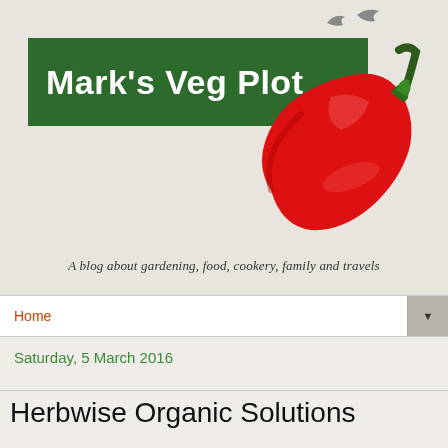[Figure (illustration): Blog header image showing a green banner with 'Mark's Veg Plot' text over a red chili pepper on a cream background, with two small bird silhouettes at the top right]
A blog about gardening, food, cookery, family and travels
Home
Saturday, 5 March 2016
Herbwise Organic Solutions